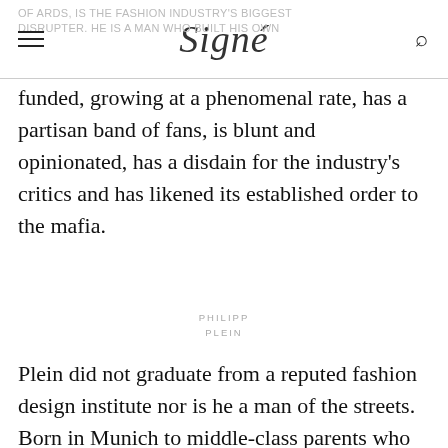Signé
funded, growing at a phenomenal rate, has a partisan band of fans, is blunt and opinionated, has a disdain for the industry's critics and has likened its established order to the mafia.
PHILIPP PLEIN
Plein did not graduate from a reputed fashion design institute nor is he a man of the streets. Born in Munich to middle-class parents who are both doctors, he was sent to Schule Schloss Salem, an elite boarding school in Switzerland. By the age of 15, he was dating an older